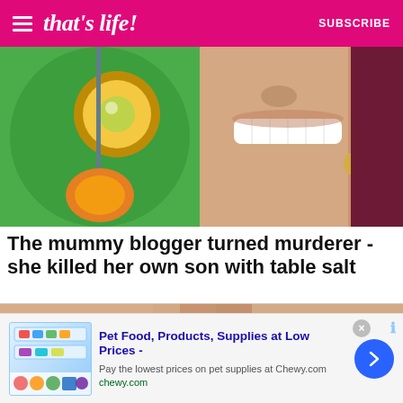that's life! — SUBSCRIBE
[Figure (photo): Child in green frog/alien costume with pacifier on left; smiling woman on right]
The mummy blogger turned murderer - she killed her own son with table salt
[Figure (photo): Close-up of two people kissing, shown from noses down]
Pet Food, Products, Supplies at Low Prices - Pay the lowest prices on pet supplies at Chewy.com chewy.com